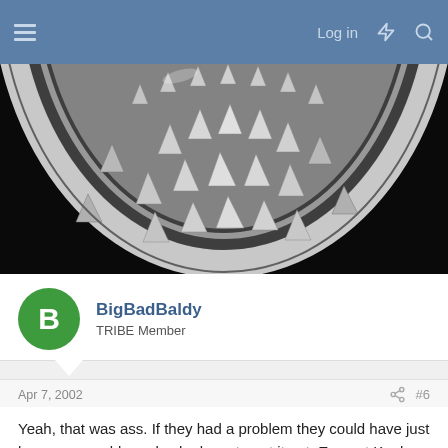Log in
[Figure (photo): Close-up photo of a metallic object with pyramid-shaped studs/rivets on a dark background, showing a watch bezel or similar circular metalwork]
BigBadBaldy
TRIBE Member
Apr 7, 2002
#6
Yeah, that was ass. If they had a problem they could have just been reasonable and asked you to put it out. Even at Kool Haus (pretty strict security people) they just make me stub them out when caught.

Nice to meet you for two seconds anyway.

BBB.